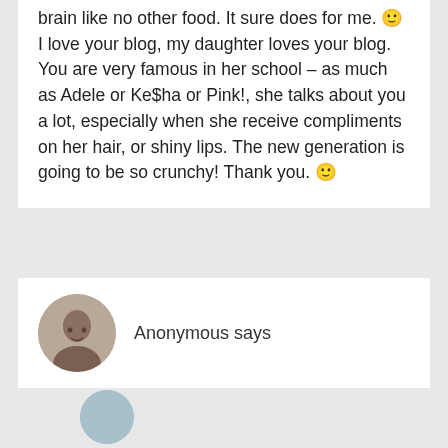brain like no other food. It sure does for me. 🙂 I love your blog, my daughter loves your blog. You are very famous in her school – as much as Adele or Ke$ha or Pink!, she talks about you a lot, especially when she receive compliments on her hair, or shiny lips. The new generation is going to be so crunchy! Thank you. 🙂
[Figure (photo): Circular avatar photo of Anonymous commenter showing a close-up side profile]
Anonymous says
Inspiring!!